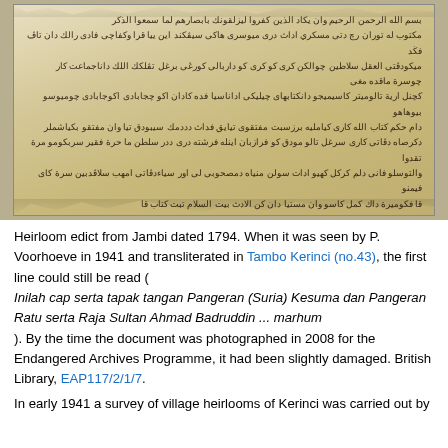[Figure (photo): Photograph of a handwritten manuscript on aged parchment with Arabic/Jawi script text, showing a heirloom edict from Jambi dated 1794. The document appears yellowed and slightly damaged with torn edges.]
Heirloom edict from Jambi dated 1794. When it was seen by P. Voorhoeve in 1941 and transliterated in Tambo Kerinci (no.43), the first line could still be read ( Inilah cap serta tapak tangan Pangeran (Suria) Kesuma dan Pangeran Ratu serta Raja Sultan Ahmad Badruddin ... marhum ). By the time the document was photographed in 2008 for the Endangered Archives Programme, it had been slightly damaged. British Library, EAP117/2/1/7.
In early 1941 a survey of village heirlooms of Kerinci was carried out by